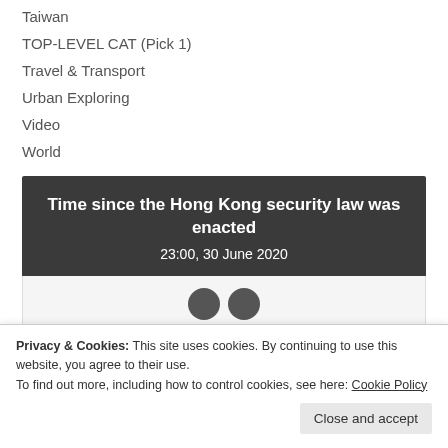Taiwan
TOP-LEVEL CAT (Pick 1)
Travel & Transport
Urban Exploring
Video
World
[Figure (other): Dark banner widget showing 'Time since the Hong Kong security law was enacted' with date 23:00, 30 June 2020, followed by a light panel with two circular icons]
Privacy & Cookies: This site uses cookies. By continuing to use this website, you agree to their use.
To find out more, including how to control cookies, see here: Cookie Policy
Close and accept